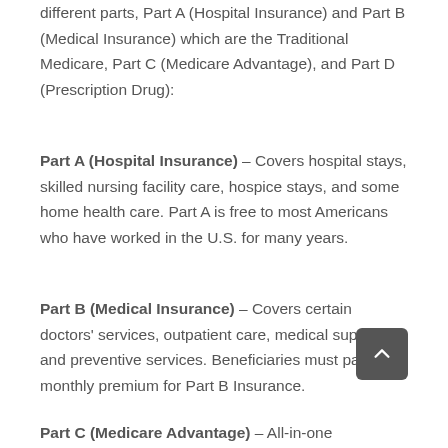different parts, Part A (Hospital Insurance) and Part B (Medical Insurance) which are the Traditional Medicare, Part C (Medicare Advantage), and Part D (Prescription Drug):
Part A (Hospital Insurance) – Covers hospital stays, skilled nursing facility care, hospice stays, and some home health care. Part A is free to most Americans who have worked in the U.S. for many years.
Part B (Medical Insurance) – Covers certain doctors' services, outpatient care, medical supplies, and preventive services. Beneficiaries must pay a monthly premium for Part B Insurance.
Part C (Medicare Advantage) – All-in-one alternative